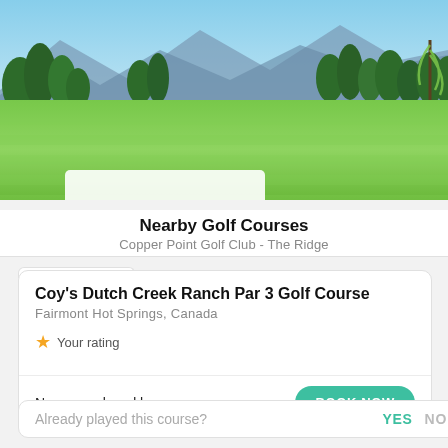[Figure (photo): Aerial view of a golf course with lush green fairways, tall pine trees, and mountains in the background under a blue sky. A willow tree is visible on the right edge.]
Nearby Golf Courses
Copper Point Golf Club - The Ridge
Coy's Dutch Creek Ranch Par 3 Golf Course
Fairmont Hot Springs, Canada
Your rating
No users played here
BOOK NOW
Already played this course?
YES
NO